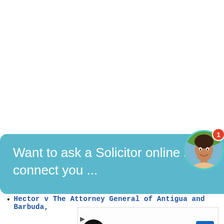[Figure (screenshot): Chat bubble overlay with text 'Want to ask a Solicitor online now? I can connect you ...' over a teal/blue background, with a circular avatar of a woman with a red notification badge showing '1']
Hector v The Attorney General of Antigua and Barbuda,
[Figure (other): Advertisement: Up To $75 Off on Goodyear Tires at Virginia Tire & Auto, with Tires Plus logo and navigation arrow icon]